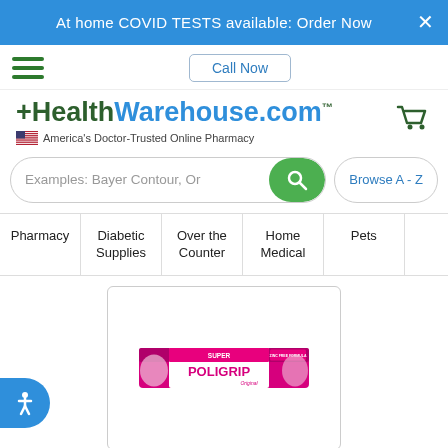At home COVID TESTS available: Order Now
Call Now
[Figure (logo): HealthWarehouse.com logo with tagline: America's Doctor-Trusted Online Pharmacy]
[Figure (other): Shopping cart icon]
Examples: Bayer Contour, Or...
Browse A - Z
Pharmacy
Diabetic Supplies
Over the Counter
Home Medical
Pets
[Figure (photo): Super Poligrip Original denture adhesive cream product box in pink and white packaging]